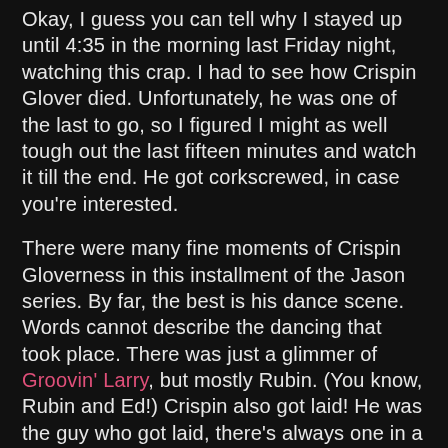Okay, I guess you can tell why I stayed up until 4:35 in the morning last Friday night, watching this crap. I had to see how Crispin Glover died. Unfortunately, he was one of the last to go, so I figured I might as well tough out the last fifteen minutes and watch it till the end. He got corkscrewed, in case you're interested.
There were many fine moments of Crispin Gloverness in this installment of the Jason series. By far, the best is his dance scene. Words cannot describe the dancing that took place. There was just a glimmer of Groovin' Larry, but mostly Rubin. (You know, Rubin and Ed!) Crispin also got laid! He was the guy who got laid, there's always one in a slasher flick – and this time it was Crispin! So impressive. I did feel cheated by the skinny dipping scene. Everyone but Crispin went skinny